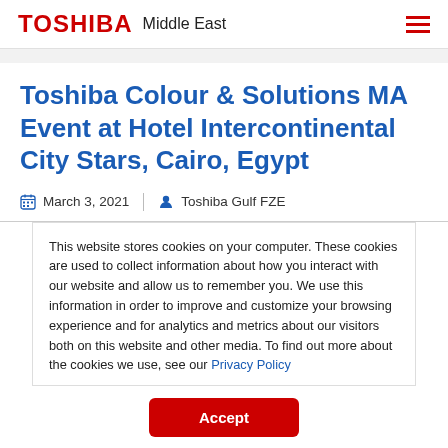TOSHIBA Middle East
Toshiba Colour & Solutions MA Event at Hotel Intercontinental City Stars, Cairo, Egypt
March 3, 2021  |  Toshiba Gulf FZE
This website stores cookies on your computer. These cookies are used to collect information about how you interact with our website and allow us to remember you. We use this information in order to improve and customize your browsing experience and for analytics and metrics about our visitors both on this website and other media. To find out more about the cookies we use, see our Privacy Policy
Accept